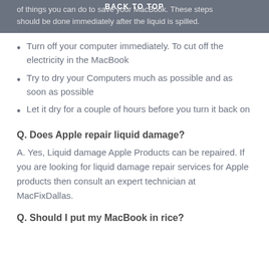of things you can do to save your MacBook. These steps should be done immediately after the liquid is spilled.
Turn off your computer immediately. To cut off the electricity in the MacBook
Try to dry your Computers much as possible and as soon as possible
Let it dry for a couple of hours before you turn it back on
Q. Does Apple repair liquid damage?
A. Yes, Liquid damage Apple Products can be repaired. If you are looking for liquid damage repair services for Apple products then consult an expert technician at MacFixDallas.
Q. Should I put my MacBook in rice?